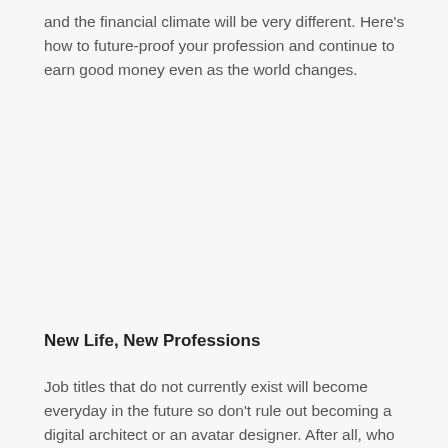and the financial climate will be very different. Here's how to future-proof your profession and continue to earn good money even as the world changes.
New Life, New Professions
Job titles that do not currently exist will become everyday in the future so don't rule out becoming a digital architect or an avatar designer. After all, who